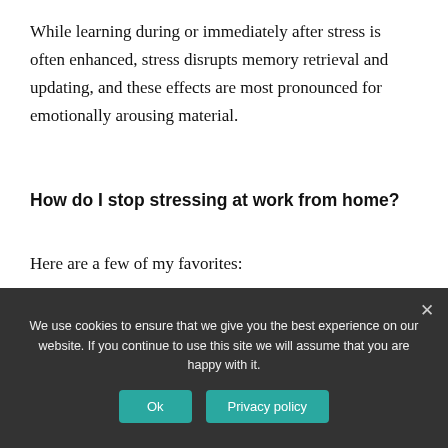While learning during or immediately after stress is often enhanced, stress disrupts memory retrieval and updating, and these effects are most pronounced for emotionally arousing material.
How do I stop stressing at work from home?
Here are a few of my favorites:
We use cookies to ensure that we give you the best experience on our website. If you continue to use this site we will assume that you are happy with it.